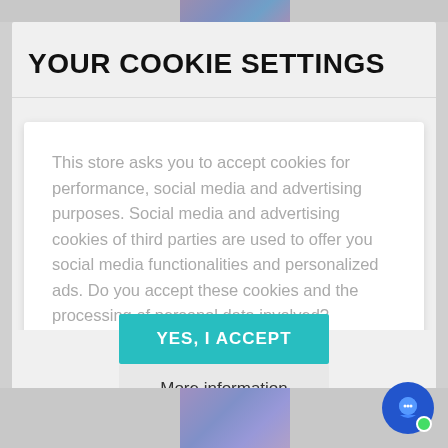YOUR COOKIE SETTINGS
This store asks you to accept cookies for performance, social media and advertising purposes. Social media and advertising cookies of third parties are used to offer you social media functionalities and personalized ads. Do you accept these cookies and the processing of personal data involved?
YES, I ACCEPT
More information